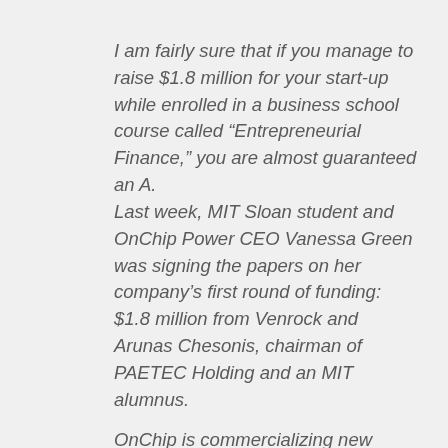I am fairly sure that if you manage to raise $1.8 million for your start-up while enrolled in a business school course called “Entrepreneurial Finance,” you are almost guaranteed an A. Last week, MIT Sloan student and OnChip Power CEO Vanessa Green was signing the papers on her company’s first round of funding: $1.8 million from Venrock and Arunas Chesonis, chairman of PAETEC Holding and an MIT alumnus.

OnChip is commercializing new power electronics technology developed at …